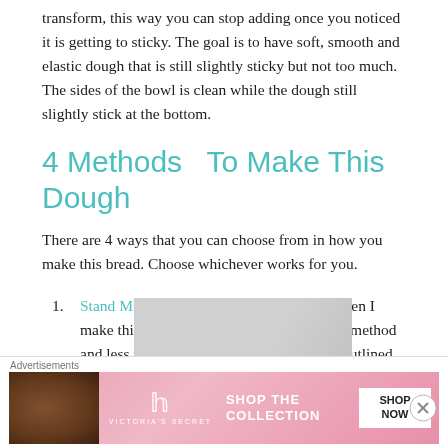transform, this way you can stop adding once you noticed it is getting to sticky. The goal is to have soft, smooth and elastic dough that is still slightly sticky but not too much. The sides of the bowl is clean while the dough still slightly stick at the bottom.
4 Methods  To Make This Dough
There are 4 ways that you can choose from in how you make this bread. Choose whichever works for you.
Stand Mixer – This is what I always use when I make this dough. It's the fastest and easiest method and less manual handling. This is the step outlined below in the instruction.
[Figure (photo): Partial image of what appears to be a stand mixer or baking equipment, light gray/white background]
[Figure (photo): Victoria's Secret advertisement banner with model, VS logo, 'SHOP THE COLLECTION' text and 'SHOP NOW' button]